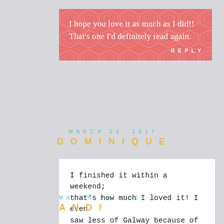I hope you love it as much as I did!! That’s one I’d definitely read again.
REPLY
MARCH 23, 2017
DOMINIQUE
I finished it within a weekend; that’s how much I loved it! I even saw less of Galway because of it.
REPLY
MARCH 14, 2017
ANDI